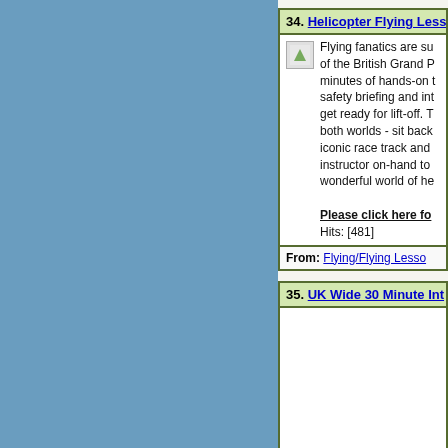34. Helicopter Flying Less...
Flying fanatics are su... of the British Grand P... minutes of hands-on t... safety briefing and int... get ready for lift-off. T... both worlds - sit back... iconic race track and ... instructor on-hand to ... wonderful world of he...
Please click here fo... Hits: [481]
From: Flying/Flying Lesso...
35. UK Wide 30 Minute Int...